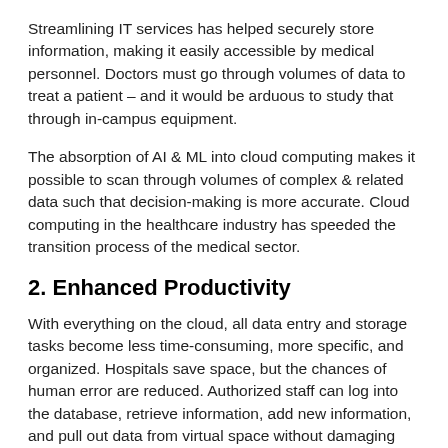Streamlining IT services has helped securely store information, making it easily accessible by medical personnel. Doctors must go through volumes of data to treat a patient – and it would be arduous to study that through in-campus equipment.
The absorption of AI & ML into cloud computing makes it possible to scan through volumes of complex & related data such that decision-making is more accurate. Cloud computing in the healthcare industry has speeded the transition process of the medical sector.
2. Enhanced Productivity
With everything on the cloud, all data entry and storage tasks become less time-consuming, more specific, and organized. Hospitals save space, but the chances of human error are reduced. Authorized staff can log into the database, retrieve information, add new information, and pull out data from virtual space without damaging existing files. Electronic Health Records (EHR) assist in building a collaborative patient care system.
3. Extensive Research & Insights